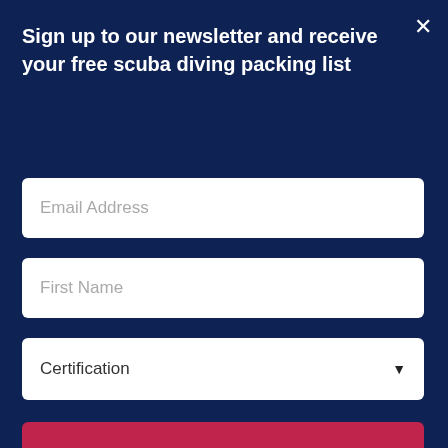Sign up to our newsletter and receive your free scuba diving packing list
[Figure (screenshot): Email address input field (white rounded rectangle)]
[Figure (screenshot): First Name input field (white rounded rectangle)]
[Figure (screenshot): Certification dropdown field (white rounded rectangle with arrow)]
[Figure (screenshot): Red Sign up button]
dives in total. Advanced Open Water certification – 50 minimum logged dives required.
[Figure (screenshot): Advertisement bar: Get Up To $110 Off a Set of 4 Select Firestone Tires]